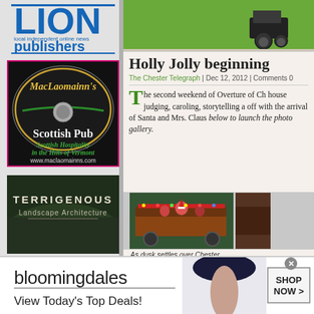[Figure (logo): LION Publishers logo - Local Independent Online News Publishers]
[Figure (illustration): MacLaomainn's Scottish Pub advertisement with dark background, gold and white text, green holly decoration. Text: Scottish Hospitality in the Hills of Vermont, www.maclaomainns.com]
[Figure (photo): Top image strip - farm tractor/green agricultural scene]
Holly Jolly beginning
The Chester Telegraph | Dec 12, 2012 | Comments 0
The second weekend of Overture of Ch... house judging, caroling, storytelling a... off with the arrival of Santa and Mrs. Claus... below to launch the photo gallery.
[Figure (photo): Photo of people on a decorated farm wagon/float with Santa and Christmas decorations]
As dusk settles over Chester...
[Figure (illustration): Terrigenous Landscape Architecture advertisement with dark green/nature background]
[Figure (photo): Bloomingdales banner advertisement - View Today's Top Deals! SHOP NOW > with woman in hat]
View Today's Top Deals!